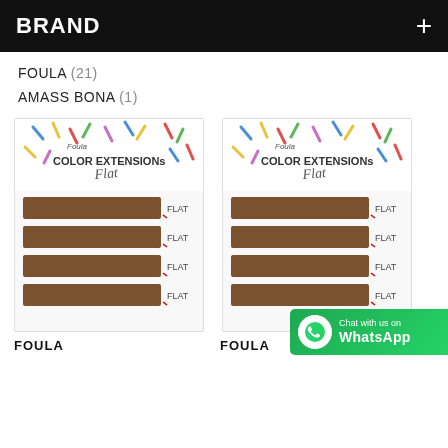BRAND +
FOULA (21)
AMASS BONA (1)
[Figure (photo): Two Foula Color Extensions Flat lash extension product trays, each showing four rows of brown flat lashes labeled FLAT, on a white background with colorful confetti-style decoration at the top.]
FOULA
FOULA
[Figure (logo): WhatsApp contact badge with green background, phone icon, and text 'Chat with us on WhatsApp']